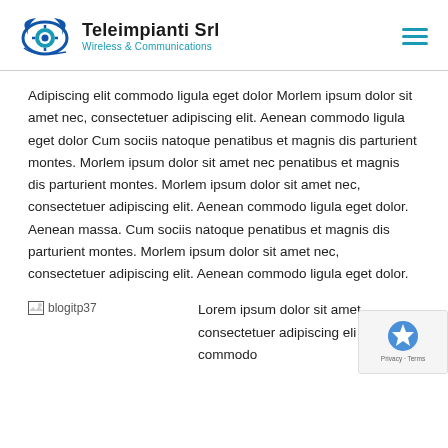Teleimpianti Srl — Wireless & Communications
Adipiscing elit commodo ligula eget dolor Morlem ipsum dolor sit amet nec, consectetuer adipiscing elit. Aenean commodo ligula eget dolor Cum sociis natoque penatibus et magnis dis parturient montes. Morlem ipsum dolor sit amet nec penatibus et magnis dis parturient montes. Morlem ipsum dolor sit amet nec, consectetuer adipiscing elit. Aenean commodo ligula eget dolor. Aenean massa. Cum sociis natoque penatibus et magnis dis parturient montes. Morlem ipsum dolor sit amet nec, consectetuer adipiscing elit. Aenean commodo ligula eget dolor.
[Figure (photo): blogitp37 image placeholder]
Lorem ipsum dolor sit amet, consectetuer adipiscing elit. Aenean commodo